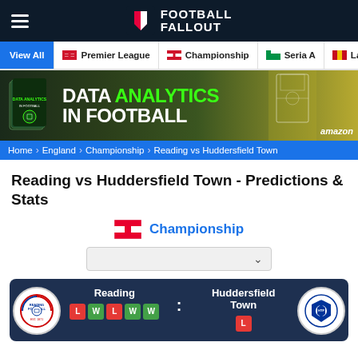Football Fallout - navigation header
View All | Premier League | Championship | Seria A | La...
[Figure (screenshot): Data Analytics in Football promotional banner with book cover and Amazon branding]
Home > England > Championship > Reading vs Huddersfield Town
Reading vs Huddersfield Town - Predictions & Stats
Championship
[Figure (infographic): Match card showing Reading vs Huddersfield Town with team logos, form badges L W L W W and score placeholder]